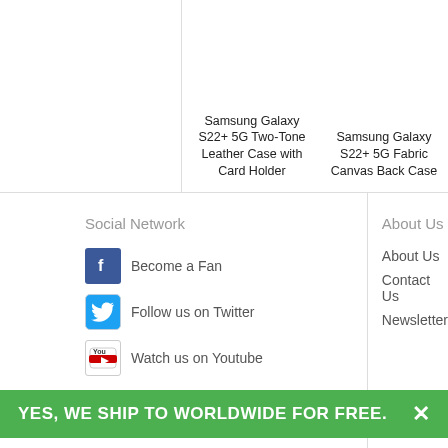Samsung Galaxy S22+ 5G Two-Tone Leather Case with Card Holder
Samsung Galaxy S22+ 5G Fabric Canvas Back Case
Social Network
Become a Fan
Follow us on Twitter
Watch us on Youtube
About Us
About Us
Contact Us
Newsletter
Sign Up Our Newsletter
[Figure (logo): PayPal payment logo]
[Figure (logo): MasterCard payment logo]
YES, WE SHIP TO WORLDWIDE FOR FREE.